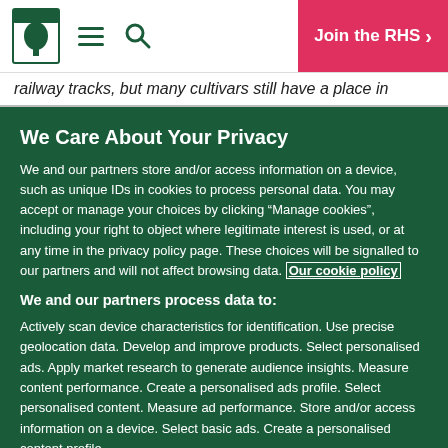RHS navigation bar with logo, hamburger menu, search icon, and Join the RHS button
railway tracks, but many cultivars still have a place in
We Care About Your Privacy
We and our partners store and/or access information on a device, such as unique IDs in cookies to process personal data. You may accept or manage your choices by clicking “Manage cookies”, including your right to object where legitimate interest is used, or at any time in the privacy policy page. These choices will be signalled to our partners and will not affect browsing data. Our cookie policy
We and our partners process data to:
Actively scan device characteristics for identification. Use precise geolocation data. Develop and improve products. Select personalised ads. Apply market research to generate audience insights. Measure content performance. Create a personalised ads profile. Select personalised content. Measure ad performance. Store and/or access information on a device. Select basic ads. Create a personalised content profile.
List of partners (vendors)